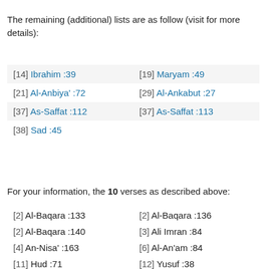The remaining (additional) lists are as follow (visit for more details):
[14] Ibrahim :39
[19] Maryam :49
[21] Al-Anbiya' :72
[29] Al-Ankabut :27
[37] As-Saffat :112
[37] As-Saffat :113
[38] Sad :45
For your information, the 10 verses as described above:
[2] Al-Baqara :133
[2] Al-Baqara :136
[2] Al-Baqara :140
[3] Ali Imran :84
[4] An-Nisa' :163
[6] Al-An'am :84
[11] Hud :71
[12] Yusuf :38
[12] Yusuf :5
[12] Yusuf :6